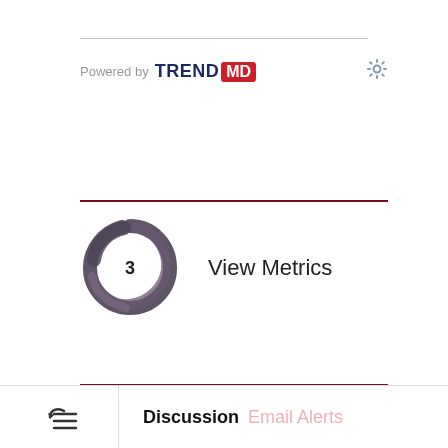[Figure (logo): TrendMD logo with text 'Powered by TREND MD' and a gear settings icon on the right]
[Figure (donut-chart): Circular swirled donut/knot shape in dark purple-grey with number 3 in the center white circle, next to 'View Metrics' text]
Cited By
Web Of Science (68)
Google Scholar
Discussion  Email Alerts